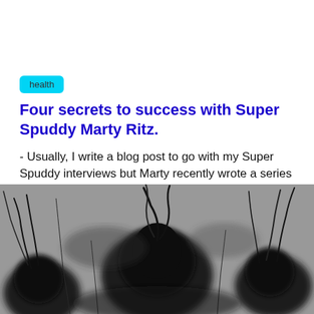health
Four secrets to success with Super Spuddy Marty Ritz.
- Usually, I write a blog post to go with my Super Spuddy interviews but Marty recently wrote a series of posts in our Facebook group.
[Figure (photo): Black and white photograph of ink dispersing in water, creating dark cloud-like formations against a grey background.]